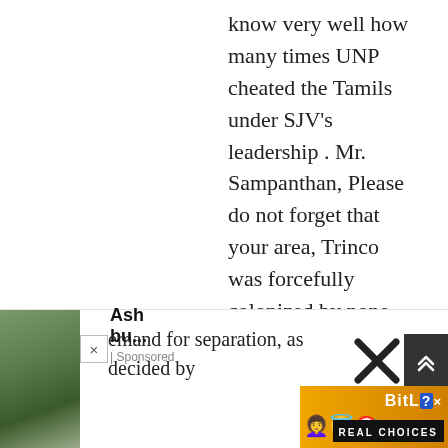know very well how many times UNP cheated the Tamils under SJV's leadership . Mr. Sampanthan, Please do not forget that your area, Trinco was forcefully colonized by none other than D.S. Senanayake,the 1st UNP Prime Minister of then Ceylon, and later C.P. de Silva followed the treacherous act. At least, under Thero's guidance, the country's new leaders will get rid of corruption, nepotism, intimidation and thuggery,and impose rule of law, which is the utmost thing,the Tamils and the rest of the country want right now.Since there is no demand for separation, as decided by
[Figure (screenshot): Advertisement bar at bottom of page showing a thumbnail image on the left with 'Ash bu...' text and '| Sponsored' label, a close button (×), partial article text, and a BitLife 'REAL CHOICES' game advertisement with emoji graphics and navigation buttons]